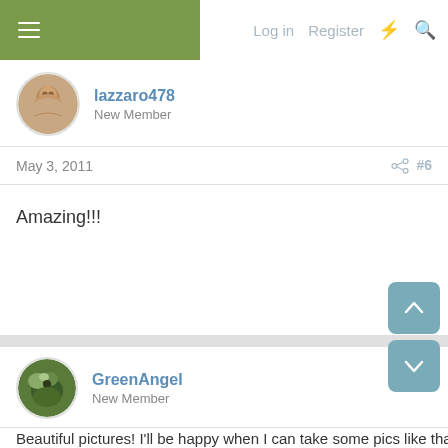Log in  Register
[Figure (photo): User avatar of lazzaro478, female portrait photo]
lazzaro478
New Member
May 3, 2011  #6
Amazing!!!
[Figure (photo): User avatar of GreenAngel, close-up of a bird or green plant]
GreenAngel
New Member
May 5, 2011  #7
Beautiful pictures! I'll be happy when I can take some pics like that. My cham doesn't really like the camera.